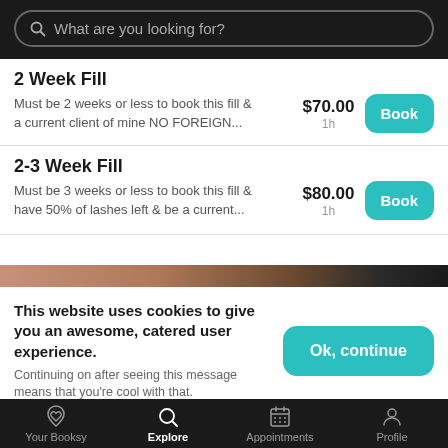[Figure (screenshot): Search bar with placeholder text 'What are you looking for?' on dark background]
2 Week Fill
Must be 2 weeks or less to book this fill & a current client of mine NO FOREIGN...
$70.00  1h
2-3 Week Fill
Must be 3 weeks or less to book this fill & have 50% of lashes left & be a current...
$80.00  1h
[Figure (photo): Horizontal strip image showing lashes/beauty product in brown and dark tones]
This website uses cookies to give you an awesome, catered user experience. Continuing on after seeing this message means that you're cool with that.
Your Booksy  Explore  Appointments  Profile